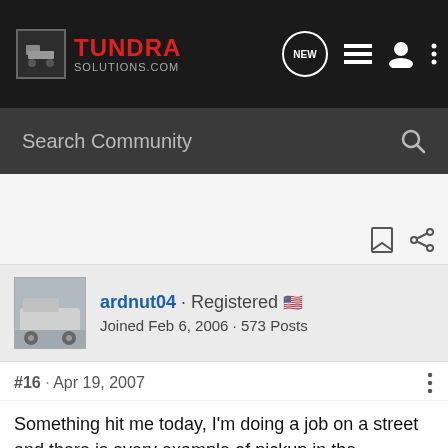TUNDRA SOLUTIONS.COM
Search Community
[Figure (screenshot): User avatar image of a white Toyota Tundra truck]
ardnut04 · Registered 🇺🇸
Joined Feb 6, 2006 · 573 Posts
#16 · Apr 19, 2007
Something hit me today, I'm doing a job on a street and there is every example of pickup in the driveways, Chevys, Fords, GMC's, a Titan, a Ram and I tried second guessing myself if I should have gone with any of them and the little voice in my head came back with a resounding NO......, so I guess that